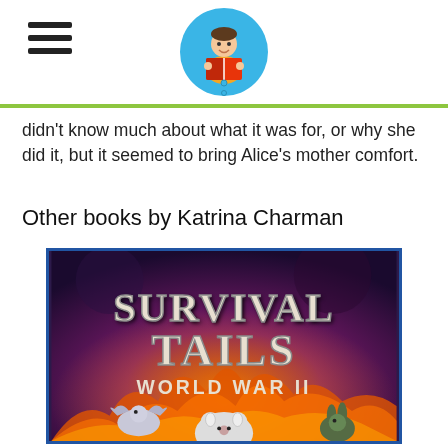[Site header with hamburger menu and reading mascot logo]
didn't know much about what it was for, or why she did it, but it seemed to bring Alice's mother comfort.
Other books by Katrina Charman
[Figure (photo): Book cover of 'Survival Tails: World War II' by Katrina Charman. Dark purple/fiery background with large stylized text 'SURVIVAL TAILS' and subtitle 'WORLD WAR II'. Animals visible at the bottom including a pigeon, a mouse/rat, and a rabbit.]